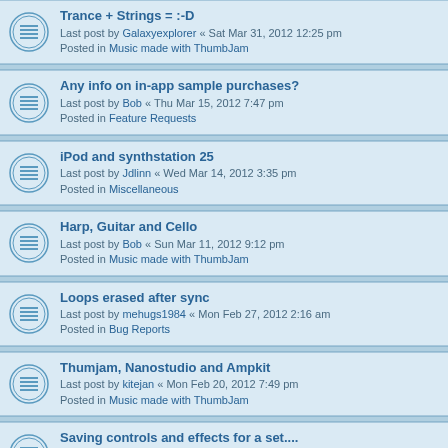Trance + Strings = :-D
Last post by Galaxyexplorer « Sat Mar 31, 2012 12:25 pm
Posted in Music made with ThumbJam
Any info on in-app sample purchases?
Last post by Bob « Thu Mar 15, 2012 7:47 pm
Posted in Feature Requests
iPod and synthstation 25
Last post by Jdlinn « Wed Mar 14, 2012 3:35 pm
Posted in Miscellaneous
Harp, Guitar and Cello
Last post by Bob « Sun Mar 11, 2012 9:12 pm
Posted in Music made with ThumbJam
Loops erased after sync
Last post by mehugs1984 « Mon Feb 27, 2012 2:16 am
Posted in Bug Reports
Thumjam, Nanostudio and Ampkit
Last post by kitejan « Mon Feb 20, 2012 7:49 pm
Posted in Music made with ThumbJam
Saving controls and effects for a set....
Last post by Thepinkelefant « Tue Feb 14, 2012 10:21 pm
Posted in Feature Requests
Urgent Request to include Backup Possibility
Last post by geobabala « Wed Feb 01, 2012 8:07 am
Posted in Bug Reports
Separate volume adjust when playing two instruments
Last post by Bob « Mon Jan 30, 2012 7:02 am